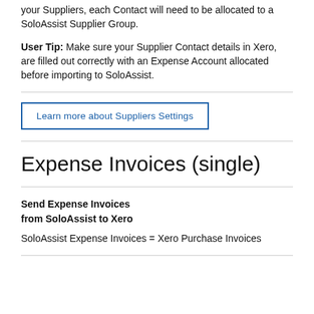your Suppliers, each Contact will need to be allocated to a SoloAssist Supplier Group.
User Tip: Make sure your Supplier Contact details in Xero, are filled out correctly with an Expense Account allocated before importing to SoloAssist.
Learn more about Suppliers Settings
Expense Invoices (single)
Send Expense Invoices from SoloAssist to Xero
SoloAssist Expense Invoices = Xero Purchase Invoices